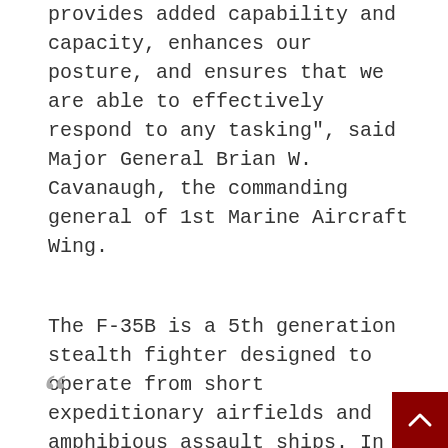provides added capability and capacity, enhances our posture, and ensures that we are able to effectively respond to any tasking", said Major General Brian W. Cavanaugh, the commanding general of 1st Marine Aircraft Wing.
The F-35B is a 5th generation stealth fighter designed to operate from short expeditionary airfields and amphibious assault ships. In addition to its short takeoff and vertical landing (STOVL) capability, the F-35B provides advanced technology and incorporates the mission capabilities of the current USMC platforms – the AV-8B and F/A-18 – within a single airframe.
[Figure (other): Large grey quotation mark (66) at bottom left, and a dark red scroll-to-top button at bottom right corner]